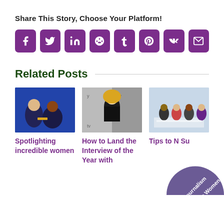Share This Story, Choose Your Platform!
[Figure (infographic): Social sharing buttons: Facebook, Twitter, LinkedIn, Reddit, Tumblr, Pinterest, VK, Email — all in purple rounded square icons]
Related Posts
[Figure (photo): Two people at an award ceremony]
Spotlighting incredible women
[Figure (photo): Blonde woman in black dress at TV event backdrop]
How to Land the Interview of the Year with
[Figure (photo): Panel of women at a conference table]
Tips to N Su
[Figure (illustration): Purple semicircle badge with text 'Join Women in Journalism']